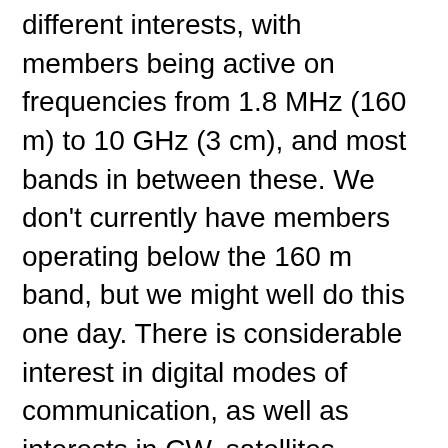different interests, with members being active on frequencies from 1.8 MHz (160 m) to 10 GHz (3 cm), and most bands in between these. We don't currently have members operating below the 160 m band, but we might well do this one day. There is considerable interest in digital modes of communication, as well as interests in CW, satellites, contests and moonbounce. Several members enjoy constructing items, either from kits, published designs, or items they have designed themselves. Antenna construction is particularly prevalent. We welcome new members who have other interests.